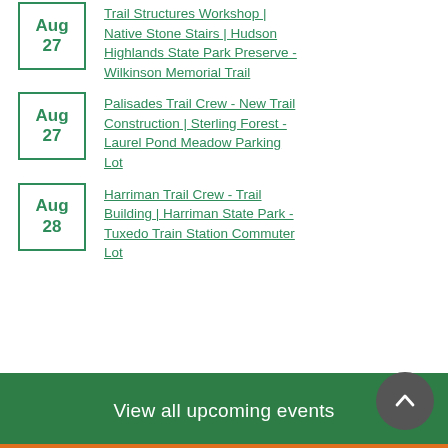Trail Structures Workshop | Native Stone Stairs | Hudson Highlands State Park Preserve - Wilkinson Memorial Trail
Palisades Trail Crew - New Trail Construction | Sterling Forest - Laurel Pond Meadow Parking Lot
Harriman Trail Crew - Trail Building | Harriman State Park - Tuxedo Train Station Commuter Lot
View all upcoming events